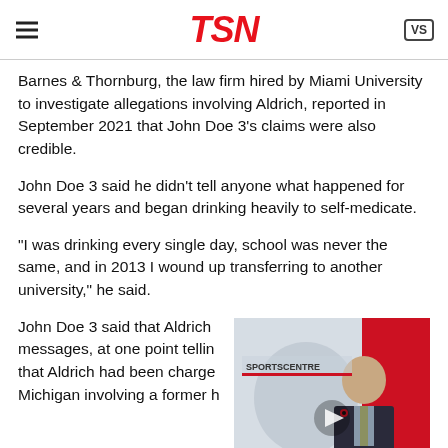TSN
Barnes & Thornburg, the law firm hired by Miami University to investigate allegations involving Aldrich, reported in September 2021 that John Doe 3's claims were also credible.
John Doe 3 said he didn't tell anyone what happened for several years and began drinking heavily to self-medicate.
“I was drinking every single day, school was never the same, and in 2013 I wound up transferring to another university,” he said.
John Doe 3 said that Aldrich messages, at one point tellin that Aldrich had been charge Michigan involving a former h
[Figure (screenshot): TSN SportsCenter video thumbnail showing a male anchor in a dark suit with a poppy pin, seated in front of a red and white studio background with the TSN SportsCenter logo visible. A play button overlay is present.]
“He told me not to believe it because it was just a kid